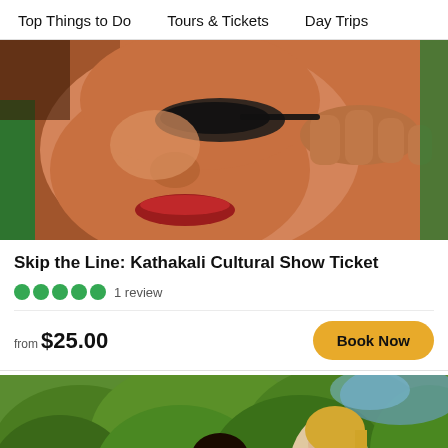Top Things to Do   Tours & Tickets   Day Trips
[Figure (photo): Close-up of a Kathakali performer having traditional eye makeup applied, with green costume visible in background]
Skip the Line: Kathakali Cultural Show Ticket
1 review
from $25.00
[Figure (photo): Two women outdoors near lush green hedges — one woman in a teal top and another in a light pink top — appearing to be engaged in an activity together]